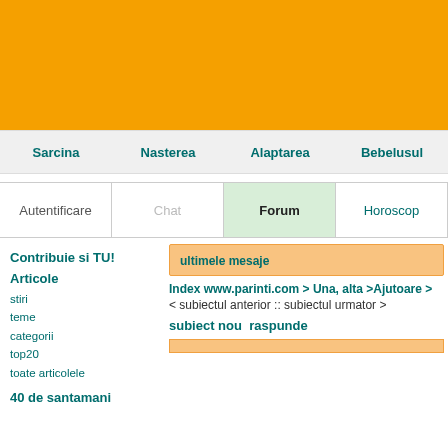[Figure (other): Orange banner/header area at top of page]
Sarcina   Nasterea   Alaptarea   Bebelusul
Autentificare   Chat   Forum   Horoscop
Contribuie si TU!
Articole
stiri
teme
categorii
top20
toate articolele
40 de saptamani
ultimele mesaje
Index www.parinti.com > Una, alta >Ajutoare >
< subiectul anterior :: subiectul urmator >
subiect nou  raspunde